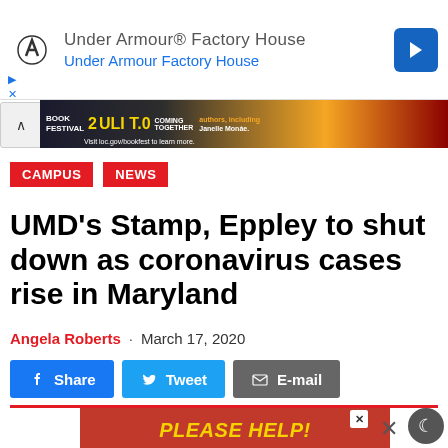[Figure (screenshot): Under Armour Factory House ad banner with UA logo, text 'Under Armour® Factory House / Under Armour Factory House', and a blue arrow icon]
[Figure (screenshot): Book Festival banner ad with colorful text, LOC book festival promotional content mentioning Janelle Monáe]
CAMPUS
NEWS
UMD's Stamp, Eppley to shut down as coronavirus cases rise in Maryland
Angela Roberts · March 17, 2020
[Figure (screenshot): Social share buttons: Facebook Share, Twitter Tweet, Email]
[Figure (infographic): Please Help donation ad for The Diamondback student newspaper: 'PLEASE HELP! We are the independent student run newspaper at The University of Maryland. We receive no university financing, no state funds, or public support. If The Diamondback is important to you, please consider a tax-deductible contribution to help us make ends meet. Thank you.' with CLICK HERE button and THE DIAMONDBACK logo]